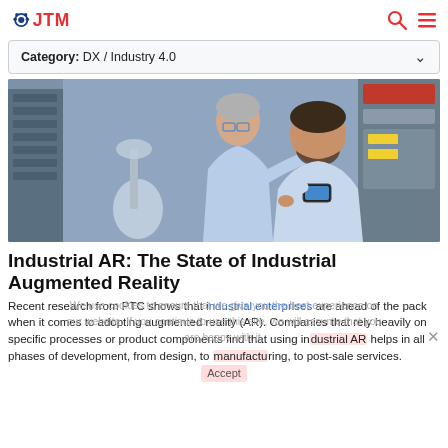JTM logo with search and menu icons
Category: DX / Industry 4.0
[Figure (photo): Two engineers in a factory/lab setting, one older man with glasses and one younger man with beard, looking at a smartphone device together near industrial machinery and microscope]
Industrial AR: The State of Industrial Augmented Reality
Recent research from PTC shows that industrial enterprises are ahead of the pack when it comes to adopting augmented reality (AR). Companies that rely heavily on specific processes or product components find that using industrial AR helps in all phases of development, from design, to manufacturing, to post-sale services.